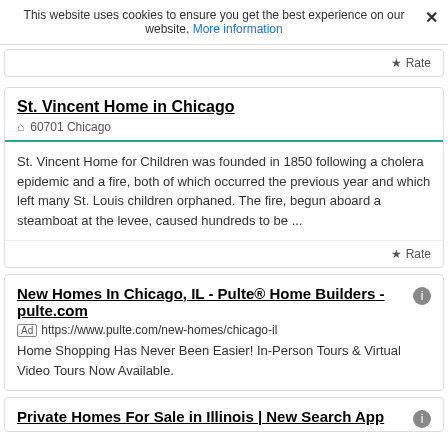This website uses cookies to ensure you get the best experience on our website. More information ×
★ Rate
St. Vincent Home in Chicago
⌂ 60701 Chicago
St. Vincent Home for Children was founded in 1850 following a cholera epidemic and a fire, both of which occurred the previous year and which left many St. Louis children orphaned. The fire, begun aboard a steamboat at the levee, caused hundreds to be ...
★ Rate
New Homes In Chicago, IL - Pulte® Home Builders - pulte.com
Ad https://www.pulte.com/new-homes/chicago-il
Home Shopping Has Never Been Easier! In-Person Tours & Virtual Video Tours Now Available.
Private Homes For Sale in Illinois | New Search App